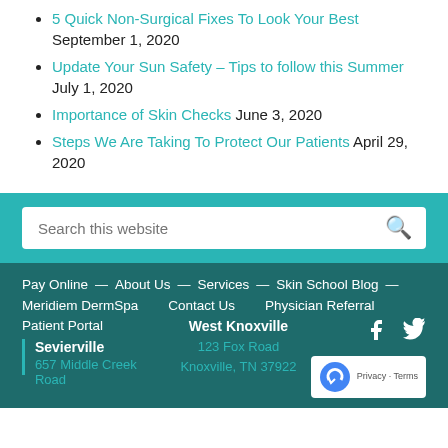5 Quick Non-Surgical Fixes To Look Your Best September 1, 2020
Update Your Sun Safety – Tips to follow this Summer July 1, 2020
Importance of Skin Checks June 3, 2020
Steps We Are Taking To Protect Our Patients April 29, 2020
Search this website
Pay Online — About Us — Services — Skin School Blog — Meridiem DermSpa   Contact Us   Physician Referral   Patient Portal   West Knoxville  123 Fox Road  Knoxville, TN 37922  Sevierville  657 Middle Creek Road